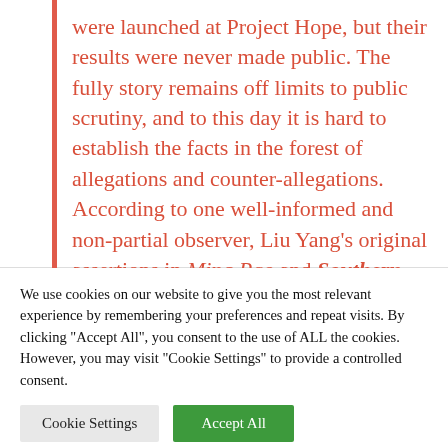were launched at Project Hope, but their results were never made public. The fully story remains off limits to public scrutiny, and to this day it is hard to establish the facts in the forest of allegations and counter-allegations. According to one well-informed and non-partial observer, Liu Yang's original assertions in Ming Pao and Southern Weekend were
We use cookies on our website to give you the most relevant experience by remembering your preferences and repeat visits. By clicking "Accept All", you consent to the use of ALL the cookies. However, you may visit "Cookie Settings" to provide a controlled consent.